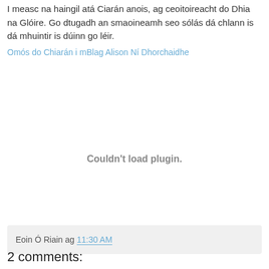I measc na haingil atá Ciarán anois, ag ceoitoireacht do Dhia na Glóire. Go dtugadh an smaoineamh seo sólás dá chlann is dá mhuintir is dúinn go léir.
Omós do Chiarán i mBlag Alison Ní Dhorchaidhe
[Figure (other): Could not load plugin placeholder area]
Eoin Ó Riain ag 11:30 AM
2 comments: